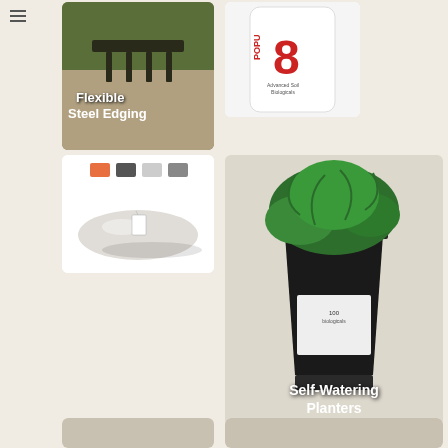[Figure (photo): Flexible Steel Edging product photo showing dark metal lawn edging with spikes pressed into soil/gravel, with white overlay text reading 'Flexible Steel Edging']
[Figure (photo): POPU8 Advanced Soil Biologicals product packaging showing the number 8 in red with 'POPU' text]
[Figure (photo): White half-sphere bowl planter with color swatches (orange, dark grey, light grey, grey) shown above it]
[Figure (photo): Self-Watering Planters product photo showing a tall dark square planter with a lush green plant, with white overlay text reading 'Self-Watering Planters']